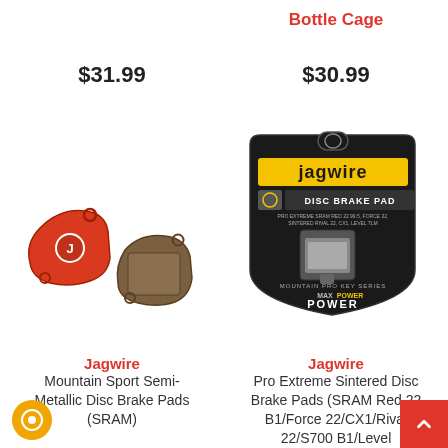Bottle Cage
$31.99
$30.99
[Figure (photo): Two Jagwire Mountain Sport Semi-Metallic Disc Brake Pads for SRAM - one red backing plate and one brown composite pad]
[Figure (photo): Jagwire Pro Extreme Sintered Disc Brake Pad in retail package - Jagwire branded black shield-shaped packaging with yellow accent, Mountain Pro Key Series Max Power label]
Jagwire
Mountain Sport Semi-Metallic Disc Brake Pads (SRAM)
Jagwire
Pro Extreme Sintered Disc Brake Pads (SRAM Red 22 B1/Force 22/CX1/Rival 22/S700 B1/Level Ultimate/TLM)